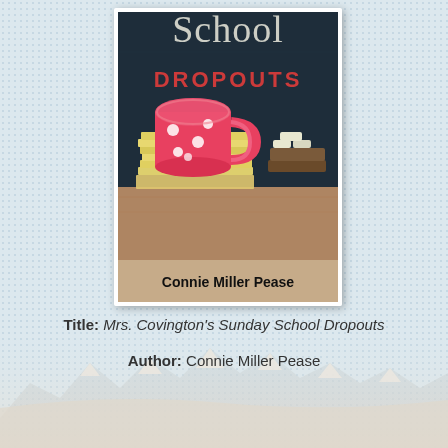[Figure (illustration): Book cover for 'Mrs. Covington's Sunday School Dropouts' by Connie Miller Pease. Cover shows a chalkboard background with 'School' in white chalk lettering and 'DROPOUTS' in red/pink bold letters. In the foreground is a pink polka-dot coffee mug sitting on a stack of yellow papers/books, with another stack of books to the right. Author name 'Connie Miller Pease' appears at the bottom on a beige/tan background.]
Title: Mrs. Covington's Sunday School Dropouts
Author: Connie Miller Pease